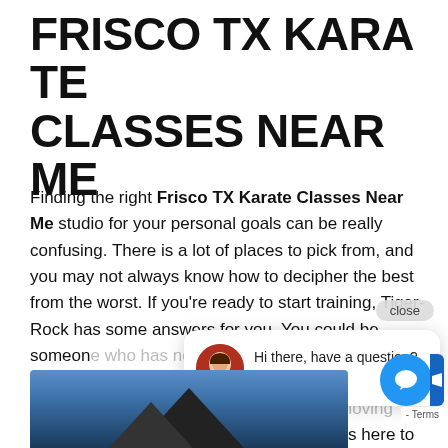FRISCO TX KARATE CLASSES NEAR ME
Finding the right Frisco TX Karate Classes Near Me studio for your personal goals can be really confusing. There is a lot of places to pick from, and you may not always know how to decipher the best from the worst. If you're ready to start training, Tiger-Rock has some answers for you. You could be someone who has neither training or never get in the game. Maybe you're an experienced athlete who wants to freshen up their skillset and get moving again. Whatever the case may be, TRMA is here to help you.
[Figure (screenshot): Chat popup with avatar and message 'Hi there, have a question? Text us here.' with close button and chat icon button]
[Figure (photo): Bottom portion of image showing blue sky and dark rooftop shapes]